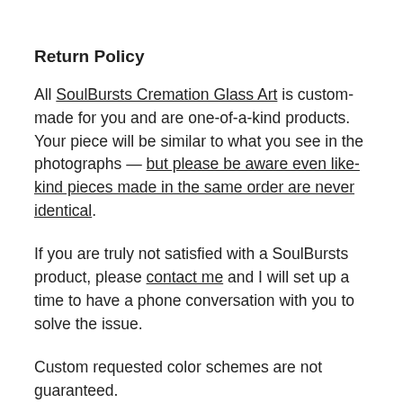Return Policy
All SoulBursts Cremation Glass Art is custom-made for you and are one-of-a-kind products. Your piece will be similar to what you see in the photographs — but please be aware even like-kind pieces made in the same order are never identical.
If you are truly not satisfied with a SoulBursts product, please contact me and I will set up a time to have a phone conversation with you to solve the issue.
Custom requested color schemes are not guaranteed.